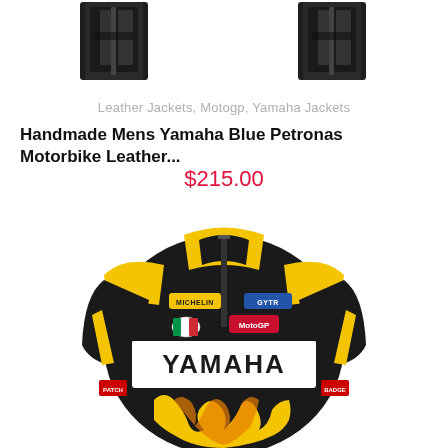[Figure (photo): Two small thumbnail images of black leather motorcycle jacket gloves/sleeves shown at top corners]
Leather Jackets, Motogp, Yamaha Jackets
Handmade Mens Yamaha Blue Petronas Motorbike Leather...
$215.00
[Figure (photo): Black and yellow Yamaha motorbike leather racing jacket with YAMAHA text on chest, Michelin patch, AGV patch, MotoGP logo, and flame design at bottom]